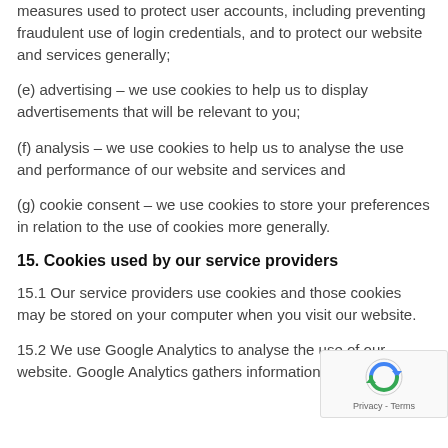measures used to protect user accounts, including preventing fraudulent use of login credentials, and to protect our website and services generally;
(e) advertising – we use cookies to help us to display advertisements that will be relevant to you;
(f) analysis – we use cookies to help us to analyse the use and performance of our website and services and
(g) cookie consent – we use cookies to store your preferences in relation to the use of cookies more generally.
15. Cookies used by our service providers
15.1 Our service providers use cookies and those cookies may be stored on your computer when you visit our website.
15.2 We use Google Analytics to analyse the use of our website. Google Analytics gathers information about